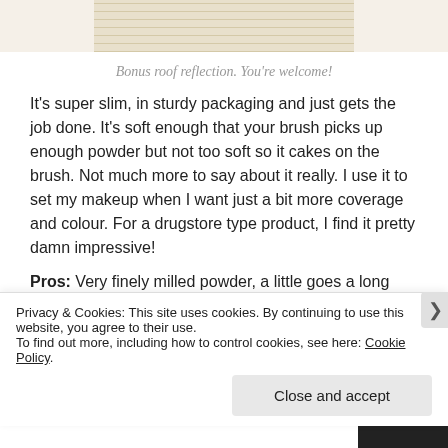[Figure (photo): Partial photo of a roof with grid/lined pattern, cropped at top of page]
Bonus roof reflection. You're welcome!
It's super slim, in sturdy packaging and just gets the job done. It's soft enough that your brush picks up enough powder but not too soft so it cakes on the brush. Not much more to say about it really. I use it to set my makeup when I want just a bit more coverage and colour. For a drugstore type product, I find it pretty damn impressive!
Pros: Very finely milled powder, a little goes a long way. Not too soft. Brush picks up just the right amount. Comes in 4
Privacy & Cookies: This site uses cookies. By continuing to use this website, you agree to their use.
To find out more, including how to control cookies, see here: Cookie Policy